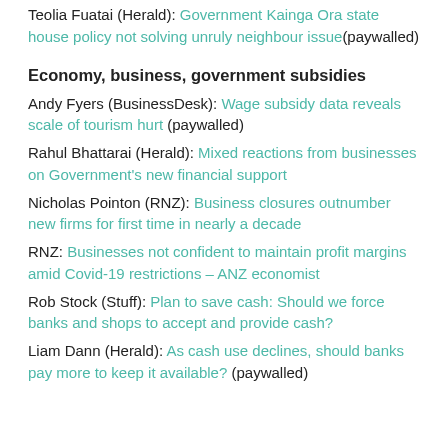Teolia Fuatai (Herald): Government Kainga Ora state house policy not solving unruly neighbour issue (paywalled)
Economy, business, government subsidies
Andy Fyers (BusinessDesk): Wage subsidy data reveals scale of tourism hurt (paywalled)
Rahul Bhattarai (Herald): Mixed reactions from businesses on Government's new financial support
Nicholas Pointon (RNZ): Business closures outnumber new firms for first time in nearly a decade
RNZ: Businesses not confident to maintain profit margins amid Covid-19 restrictions – ANZ economist
Rob Stock (Stuff): Plan to save cash: Should we force banks and shops to accept and provide cash?
Liam Dann (Herald): As cash use declines, should banks pay more to keep it available? (paywalled)